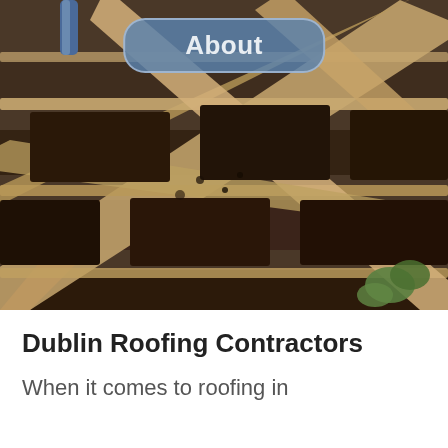[Figure (photo): Close-up photograph of a roof structure showing wooden battens/laths in a grid pattern over dark roofing material, with missing or damaged tiles revealing the underlying framework.]
Dublin Roofing Contractors
When it comes to roofing in